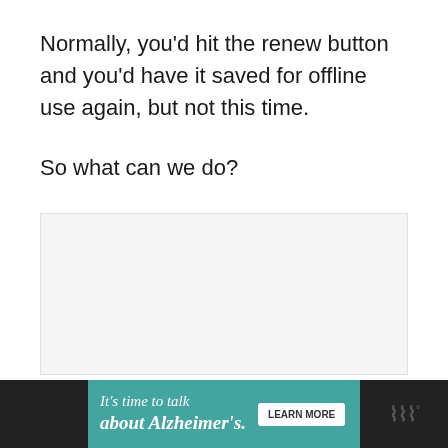Normally, you'd hit the renew button and you'd have it saved for offline use again, but not this time.

So what can we do?
[Figure (other): Light gray empty content placeholder box]
[Figure (other): Alzheimer's Association advertisement banner with teal background. Text: 'It's time to talk about Alzheimer's.' with a LEARN MORE button, Alzheimer's Association logo, and close button. Dark background section on right with stylized W logo.]